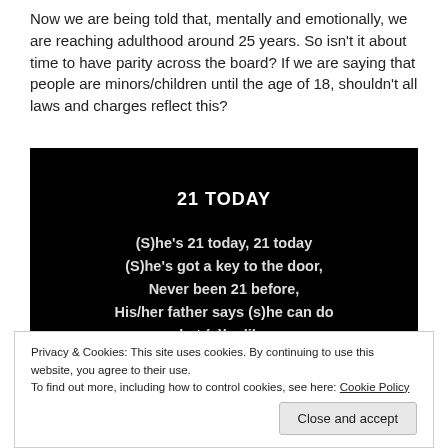Now we are being told that, mentally and emotionally, we are reaching adulthood around 25 years. So isn't it about time to have parity across the board? If we are saying that people are minors/children until the age of 18, shouldn't all laws and charges reflect this?
[Figure (illustration): Black background image with white bold text. Title: '21 TODAY'. Lyrics: '(S)he's 21 today, 21 today / (S)he's got a key to the door, / Never been 21 before, / His/her father says (s)he can do / what (s)he likes.']
Privacy & Cookies: This site uses cookies. By continuing to use this website, you agree to their use.
To find out more, including how to control cookies, see here: Cookie Policy